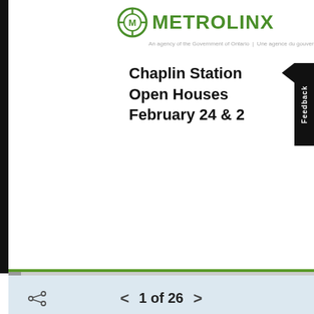[Figure (logo): Metrolinx logo with green circular crosshair icon and green METROLINX text, with tagline 'An agency of the Government of Ontario | Une agence du gouvernement de l'O...']
Chaplin Station Open Houses February 24 & 2
1 of 26
Slide presentation summary:
The first tunnel boring machine is well underway with is following closely behind. Read more »